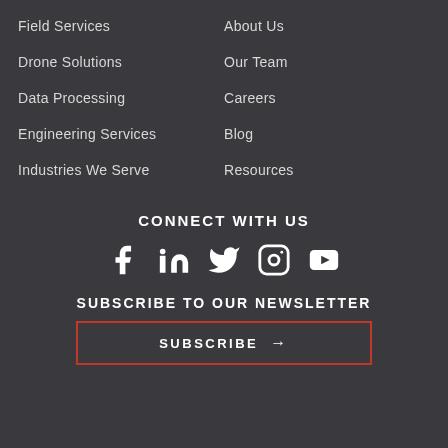Field Services
Drone Solutions
Data Processing
Engineering Services
Industries We Serve
About Us
Our Team
Careers
Blog
Resources
CONNECT WITH US
[Figure (infographic): Social media icons: Facebook, LinkedIn, Twitter, Instagram, YouTube]
SUBSCRIBE TO OUR NEWSLETTER
SUBSCRIBE →